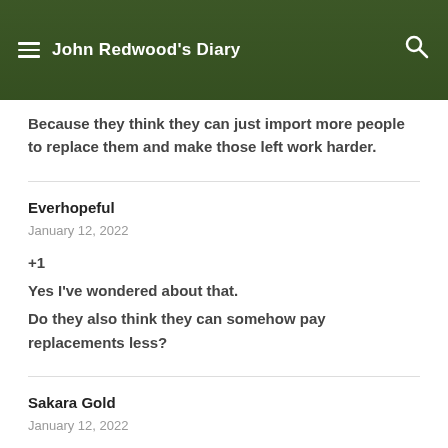John Redwood's Diary
Because they think they can just import more people to replace them and make those left work harder.
Everhopeful
January 12, 2022
+1
Yes I've wondered about that.
Do they also think they can somehow pay replacements less?
Sakara Gold
January 12, 2022